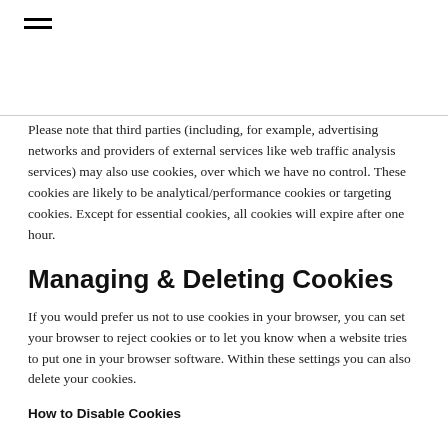≡ (hamburger menu icon)
Please note that third parties (including, for example, advertising networks and providers of external services like web traffic analysis services) may also use cookies, over which we have no control. These cookies are likely to be analytical/performance cookies or targeting cookies. Except for essential cookies, all cookies will expire after one hour.
Managing & Deleting Cookies
If you would prefer us not to use cookies in your browser, you can set your browser to reject cookies or to let you know when a website tries to put one in your browser software. Within these settings you can also delete your cookies.
How to Disable Cookies